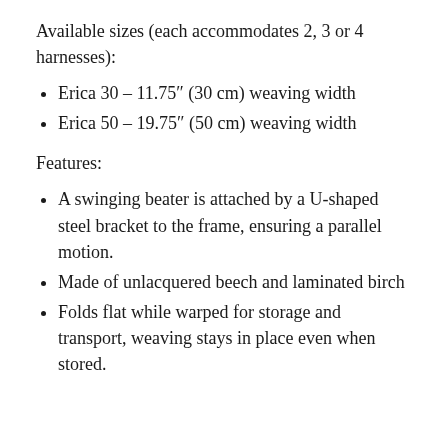Available sizes (each accommodates 2, 3 or 4 harnesses):
Erica 30 – 11.75″ (30 cm) weaving width
Erica 50 – 19.75″ (50 cm) weaving width
Features:
A swinging beater is attached by a U-shaped steel bracket to the frame, ensuring a parallel motion.
Made of unlacquered beech and laminated birch
Folds flat while warped for storage and transport, weaving stays in place even when stored.